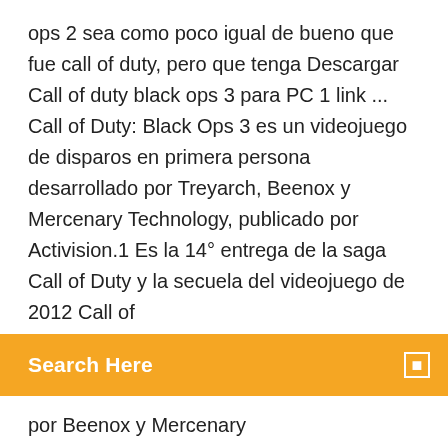ops 2 sea como poco igual de bueno que fue call of duty, pero que tenga Descargar Call of duty black ops 3 para PC 1 link ... Call of Duty: Black Ops 3 es un videojuego de disparos en primera persona desarrollado por Treyarch, Beenox y Mercenary Technology, publicado por Activision.1 Es la 14° entrega de la saga Call of Duty y la secuela del videojuego de 2012 Call of
Search Here
por Beenox y Mercenary
Descargar Call of Duty Black Ops para PC (versión ... Call of Duty Black Ops 11.14.2010 puede descargarse desde nuestra página web gratuitamente. Las versiones más populares entre los usuarios de Call of Duty Black Ops son 11.14.2010, 7.0 y 1.4. Este programa para PC funciona perfectamente en versiones de 32 bits de Windows XP/Vista/7/8/10. DESCARGAR - BLACK OPS 2 PC online pirata ... Call of Duty®: Black Ops 2 Vengeance, la descarga de contenido más reciente, incluye cuatro mapas